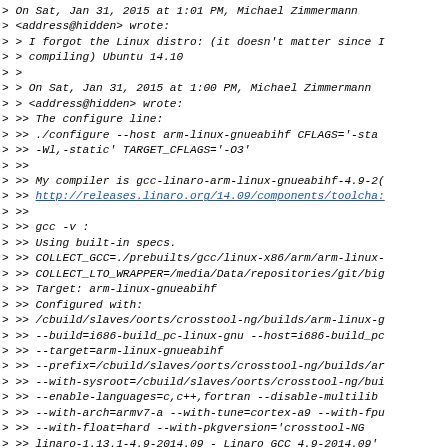> On Sat, Jan 31, 2015 at 1:01 PM, Michael Zimmermann
> <address@hidden> wrote:
> > I forgot the Linux distro: (it doesn't matter since I
> > compiling) Ubuntu 14.10
> >
> > On Sat, Jan 31, 2015 at 1:00 PM, Michael Zimmermann
> > <address@hidden> wrote:
> >> The configure line:
> >> ./configure --host arm-linux-gnueabihf CFLAGS='-sta
> >> -Wl,-static' TARGET_CFLAGS='-O3'
> >>
> >> My compiler is gcc-linaro-arm-linux-gnueabihf-4.9-2(
> >> http://releases.linaro.org/14.09/components/toolcha:
> >>
> >> gcc -v :
> >> Using built-in specs.
> >> COLLECT_GCC=./prebuilts/gcc/linux-x86/arm/arm-linux-
> >> COLLECT_LTO_WRAPPER=/media/Data/repositories/git/big
> >> Target: arm-linux-gnueabihf
> >> Configured with:
> >> /cbuild/slaves/oorts/crosstool-ng/builds/arm-linux-g
> >> --build=i686-build_pc-linux-gnu --host=i686-build_pc
> >> --target=arm-linux-gnueabihf
> >> --prefix=/cbuild/slaves/oorts/crosstool-ng/builds/ar
> >> --with-sysroot=/cbuild/slaves/oorts/crosstool-ng/bui
> >> --enable-languages=c,c++,fortran --disable-multilib
> >> --with-arch=armv7-a --with-tune=cortex-a9 --with-fpu
> >> --with-float=hard --with-pkgversion='crosstool-NG
> >> linaro-1.13.1-4.9-2014.09 - Linaro GCC 4.9-2014.09'
> >> --with-bugurl=https://bugs.launchpad.net/gcc-linaro